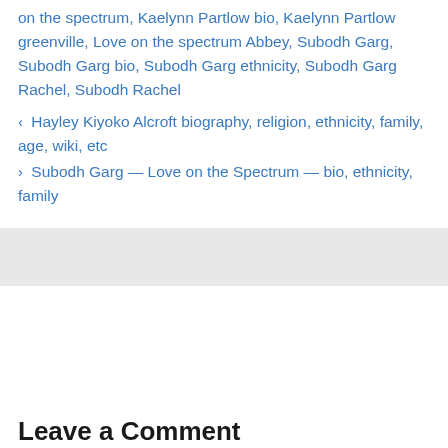on the spectrum, Kaelynn Partlow bio, Kaelynn Partlow greenville, Love on the spectrum Abbey, Subodh Garg, Subodh Garg bio, Subodh Garg ethnicity, Subodh Garg Rachel, Subodh Rachel
< Hayley Kiyoko Alcroft biography, religion, ethnicity, family, age, wiki, etc
> Subodh Garg — Love on the Spectrum — bio, ethnicity, family
Leave a Comment